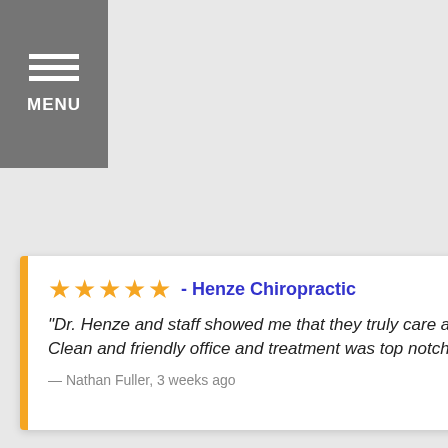[Figure (other): Gray hamburger menu button with three white lines and MENU text]
★★★★★ - Henze Chiropractic
"Dr. Henze and staff showed me that they truly care about my health and well-being. Highly recommend. Clean and friendly office and treatment was top notch."
— Nathan Fuller, 3 weeks ago
⚡ by Review Wave
[Figure (other): Blue chat widget button with speech bubble icon, and a small white chat popup saying "t's Chat?"]